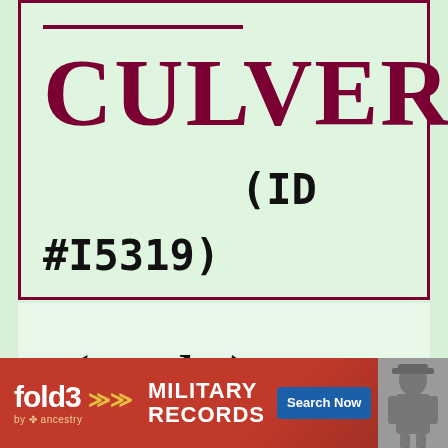CULVER
(ID #I5319)
(male)
[Figure (other): Fold3 by Ancestry advertisement banner for Military Records with Search Now button and soldier photo]